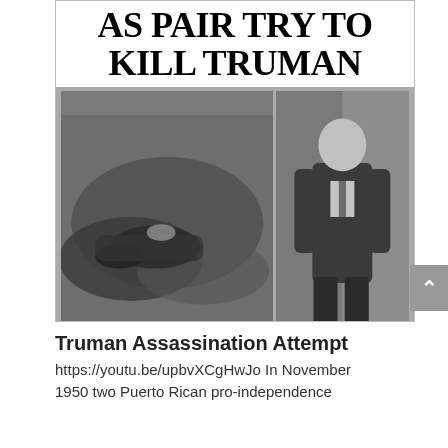[Figure (photo): Newspaper front page image showing bold headline 'AS PAIR TRY TO KILL TRUMAN' with two black-and-white photographs below: left photo shows a body on the ground, right photo shows a man in a suit. Caption reads 'Death at Truman's Doorstep' and bottom italic line reads '(More pictures of attempted assassination in centerfold!)']
Truman Assassination Attempt
https://youtu.be/upbvXCgHwJo In November 1950 two Puerto Rican pro-independence